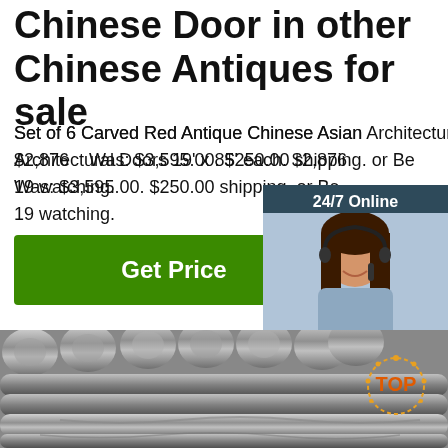Chinese Door in other Chinese Antiques for sale
Set of 6 Carved Red Antique Chinese Asian Architectural Doors 19' x 85' each. $2,876.00 Was: $3,595.00. $250.00 shipping. or Be... 19 watching.
[Figure (screenshot): Green 'Get Price' button]
[Figure (screenshot): 24/7 Online chat widget with female customer service representative photo and QUOTATION button]
[Figure (photo): Photo of metal steel round bars/rods stacked together]
[Figure (logo): TOP badge/logo in orange and gold at bottom right]